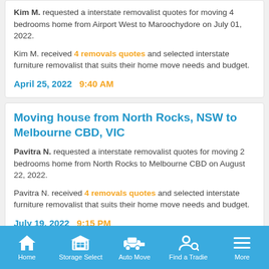Kim M. requested a interstate removalist quotes for moving 4 bedrooms home from Airport West to Maroochydore on July 01, 2022.
Kim M. received 4 removals quotes and selected interstate furniture removalist that suits their home move needs and budget.
April 25, 2022   9:40 AM
Moving house from North Rocks, NSW to Melbourne CBD, VIC
Pavitra N. requested a interstate removalist quotes for moving 2 bedrooms home from North Rocks to Melbourne CBD on August 22, 2022.
Pavitra N. received 4 removals quotes and selected interstate furniture removalist that suits their home move needs and budget.
July 19, 2022   9:15 PM
Home   Storage Select   Auto Move   Find a Tradie   More